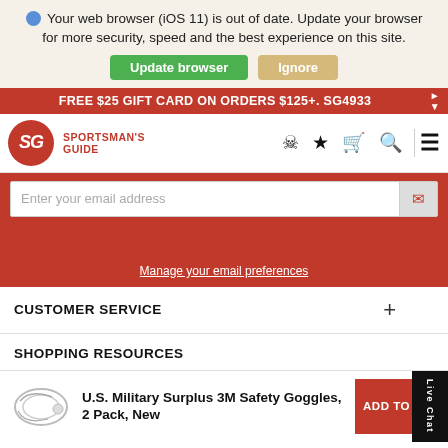Your web browser (iOS 11) is out of date. Update your browser for more security, speed and the best experience on this site.
Update browser   Ignore
FREE $25 GIFT CARD ON ORDERS $125+. SG4933
[Figure (logo): Sportsman's Guide logo with SG orange emblem and text]
Enter your email address
Manage your email preferences
CUSTOMER SERVICE
SHOPPING RESOURCES
U.S. Military Surplus 3M Safety Goggles, 2 Pack, New
ADD TO CAR